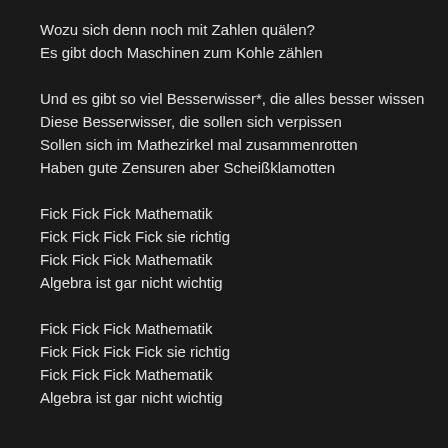Wozu sich denn noch mit Zahlen quälen?
Es gibt doch Maschinen zum Kohle zählen
Und es gibt so viel Besserwisser*, die alles besser wissen
Diese Besserwisser, die sollen sich verpissen
Sollen sich im Mathezirkel mal zusammenrotten
Haben gute Zensuren aber Scheißklamotten
Fick Fick Fick Mathematik
Fick Fick Fick Fick sie richtig
Fick Fick Fick Mathematik
Algebra ist gar nicht wichtig
Fick Fick Fick Mathematik
Fick Fick Fick Fick sie richtig
Fick Fick Fick Mathematik
Algebra ist gar nicht wichtig